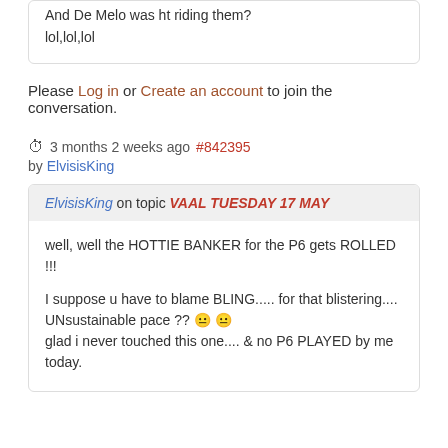And De Melo was ht riding them?
lol,lol,lol
Please Log in or Create an account to join the conversation.
3 months 2 weeks ago #842395
by ElvisisKing
ElvisisKing on topic VAAL TUESDAY 17 MAY
well, well the HOTTIE BANKER for the P6 gets ROLLED !!!
I suppose u have to blame BLING..... for that blistering.... UNsustainable pace ?? glad i never touched this one.... & no P6 PLAYED by me today.